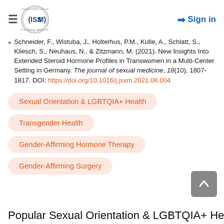ISSM — Sign in
Schneider, F., Wistuba, J., Holterhus, P.M., Kulle, A., Schlatt, S., Kliesch, S., Neuhaus, N., & Zitzmann, M. (2021). New Insights Into Extended Steroid Hormone Profiles in Transwomen in a Multi-Center Setting in Germany. The journal of sexual medicine, 18(10), 1807-1817. DOI: https://doi.org/10.1016/j.jsxm.2021.08.004
Sexual Orientation & LGBTQIA+ Health
Transgender Health
Gender-Affirming Hormone Therapy
Gender-Affirming Surgery
Popular Sexual Orientation & LGBTQIA+ Health